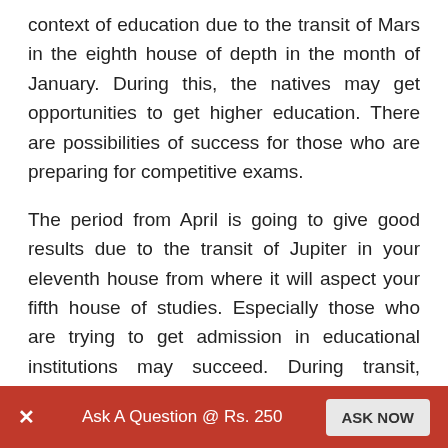context of education due to the transit of Mars in the eighth house of depth in the month of January. During this, the natives may get opportunities to get higher education. There are possibilities of success for those who are preparing for competitive exams.
The period from April is going to give good results due to the transit of Jupiter in your eleventh house from where it will aspect your fifth house of studies. Especially those who are trying to get admission in educational institutions may succeed. During transit, especially from August to September, things are going to be highly beneficial in the context of education. The natives may also secure good marks in
Ask A Question @ Rs. 250  ASK NOW